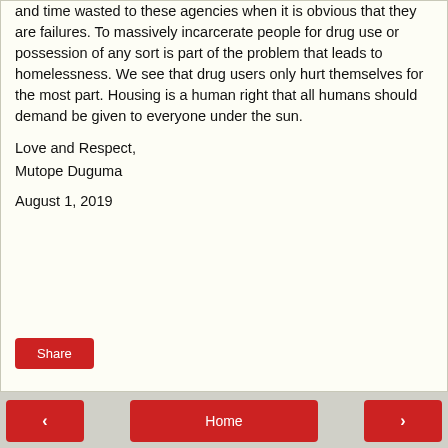and time wasted to these agencies when it is obvious that they are failures. To massively incarcerate people for drug use or possession of any sort is part of the problem that leads to homelessness. We see that drug users only hurt themselves for the most part. Housing is a human right that all humans should demand be given to everyone under the sun.
Love and Respect,
Mutope Duguma
August 1, 2019
Share | < | Home | >